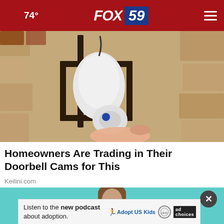🌙 74° FOX 59
[Figure (photo): A person's hand holding a white smart security camera near an outdoor wall-mounted lantern light fixture on a stone/stucco exterior wall.]
Homeowners Are Trading in Their Doorbell Cams for This
Keilini.com
[Figure (photo): A person with brown hair shown from the shoulders up against a teal/turquoise background.]
Listen to the new podcast about adoption.